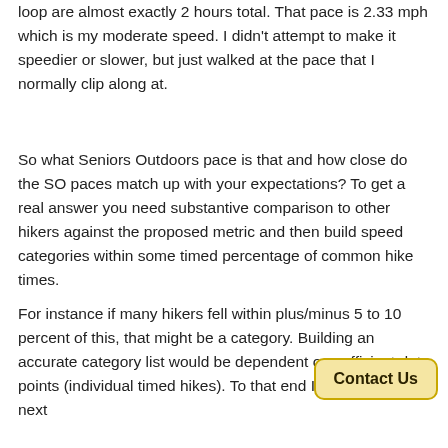loop are almost exactly 2 hours total. That pace is 2.33 mph which is my moderate speed. I didn't attempt to make it speedier or slower, but just walked at the pace that I normally clip along at.
So what Seniors Outdoors pace is that and how close do the SO paces match up with your expectations? To get a real answer you need substantive comparison to other hikers against the proposed metric and then build speed categories within some timed percentage of common hike times.
For instance if many hikers fell within plus/minus 5 to 10 percent of this, that might be a category. Building an accurate category list would be dependent on sufficient data points (individual timed hikes). To that end I'd suggest the next